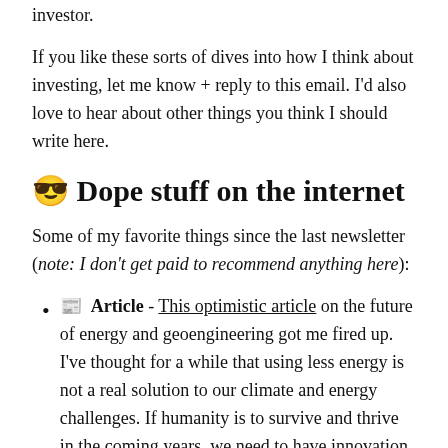investor.
If you like these sorts of dives into how I think about investing, let me know + reply to this email. I'd also love to hear about other things you think I should write here.
😎 Dope stuff on the internet
Some of my favorite things since the last newsletter (note: I don't get paid to recommend anything here):
📰 Article - This optimistic article on the future of energy and geoengineering got me fired up. I've thought for a while that using less energy is not a real solution to our climate and energy challenges. If humanity is to survive and thrive in the coming years, we need to have innovation